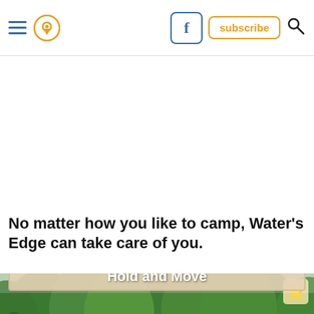[Figure (screenshot): Website navigation header bar with hamburger menu icon, location pin icon (orange), Facebook button (blue outlined), subscribe button (orange outlined), and search icon on white background]
No matter how you like to camp, Water's Edge can take care of you.
[Figure (photo): Outdoor camping area photo showing trees and a wooden cabin/lodge building with a metal roof, surrounded by green trees. An advertisement overlay reads 'Hold and Move' with two blue figures and close buttons.]